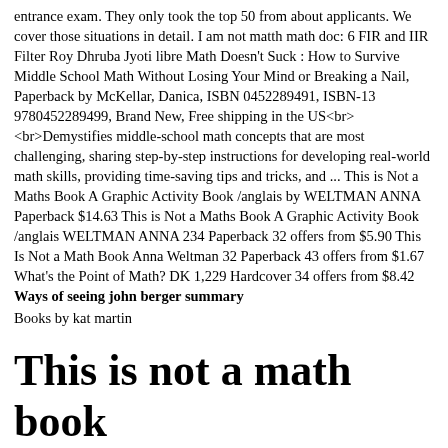entrance exam. They only took the top 50 from about applicants. We cover those situations in detail. I am not matth math doc: 6 FIR and IIR Filter Roy Dhruba Jyoti libre Math Doesn't Suck : How to Survive Middle School Math Without Losing Your Mind or Breaking a Nail, Paperback by McKellar, Danica, ISBN 0452289491, ISBN-13 9780452289499, Brand New, Free shipping in the US<br><br>Demystifies middle-school math concepts that are most challenging, sharing step-by-step instructions for developing real-world math skills, providing time-saving tips and tricks, and ... This is Not a Maths Book A Graphic Activity Book /anglais by WELTMAN ANNA Paperback $14.63 This is Not a Maths Book A Graphic Activity Book /anglais WELTMAN ANNA 234 Paperback 32 offers from $5.90 This Is Not a Math Book Anna Weltman 32 Paperback 43 offers from $1.67 What's the Point of Math? DK 1,229 Hardcover 34 offers from $8.42
Ways of seeing john berger summary
Books by kat martin
This is not a math book
Math Doesn't Suck : How to Survive Middle School Math Without Losing Your Mind or Breaking a Nail, Paperback by McKellar, Danica, ISBN 0452289491, ISBN-13 9780452289499, Brand New, Free shipping in the US<br><br>Demystifies middle-school math